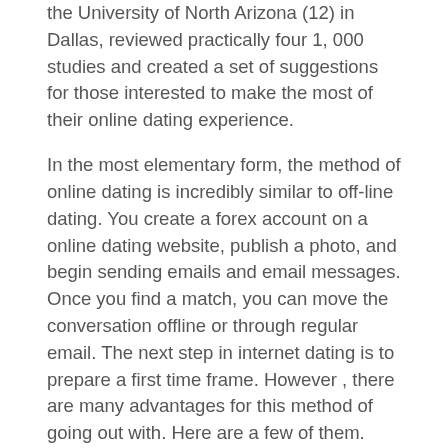the University of North Arizona (12) in Dallas, reviewed practically four 1, 000 studies and created a set of suggestions for those interested to make the most of their online dating experience.
In the most elementary form, the method of online dating is incredibly similar to off-line dating. You create a forex account on a online dating website, publish a photo, and begin sending emails and email messages. Once you find a match, you can move the conversation offline or through regular email. The next step in internet dating is to prepare a first time frame. However , there are many advantages for this method of going out with. Here are a few of them.
Many internet dating services need their users to share a variety of personal information. While some people it offers for some extent, they will be